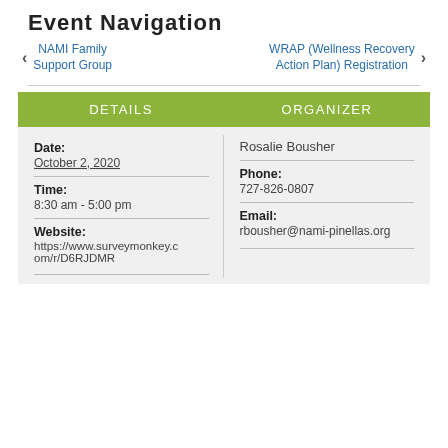Event Navigation
< NAMI Family Support Group    WRAP (Wellness Recovery Action Plan) Registration >
| Date | Organizer |
| --- | --- |
| October 2, 2020 | Rosalie Bousher |
| Time: 8:30 am - 5:00 pm | Phone: 727-826-0807 |
| Website: https://www.surveymonkey.com/r/D6RJDMR | Email: rbousher@nami-pinellas.org |